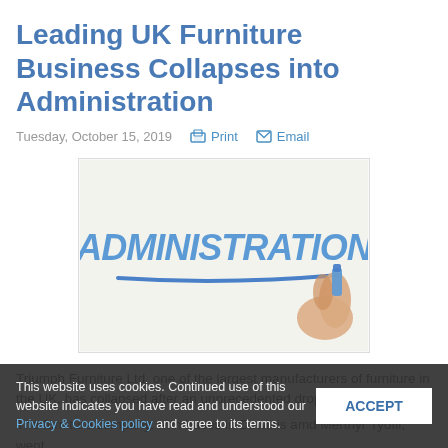Leading UK Furniture Business Collapses into Administration
Tuesday, October 15, 2019    Print    Email
[Figure (illustration): A hand writing the word ADMINISTRATION in large blue stylized letters on a whiteboard, with a blue marker underline beneath the text.]
Triumph Furniture Ltd, one of the largest manufacturers of furniture in the UK, has collapsed after an unprecedented drop in...
The furniture company, with bases in Dowlais amd Merthyr Tydfil, went
This website uses cookies. Continued use of this website indicates you have read and understood our Privacy & Cookies policy and agree to its terms.